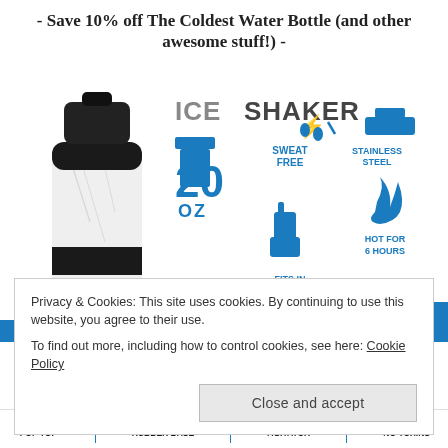- Save 10% off The Coldest Water Bottle (and other awesome stuff!) -
[Figure (infographic): Ice Shaker 20 oz stainless steel shaker bottle with features: Sweat Free, Stainless Steel, Fits in Cupholders, Hot for 6 Hours, with product image showing white marble bottle]
Privacy & Cookies: This site uses cookies. By continuing to use this website, you agree to their use.
To find out more, including how to control cookies, see here: Cookie Policy
Close and accept
EASY OPEN POP TOP | REMOVABLE RUBBER BASE | TWIST-OFF AGITATOR | BPA FREE NO TOXINS